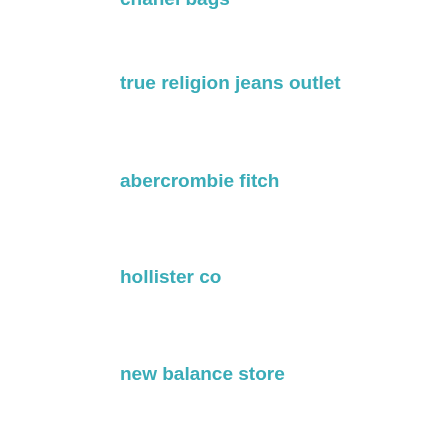chanel bags
true religion jeans outlet
abercrombie fitch
hollister co
new balance store
converse sneakers
lululemon outlet
cheap jerseys
nfl jerseys
rolex watches
omega watches
p90x